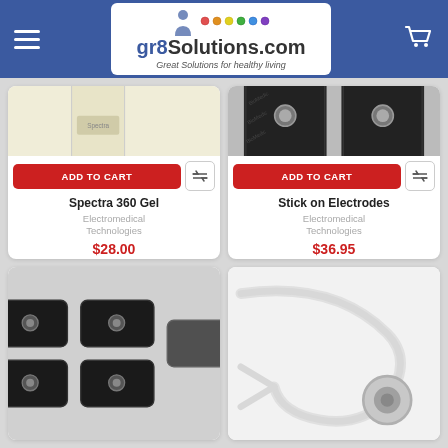gr8Solutions.com — Great Solutions for healthy living
[Figure (photo): Product image of Spectra 360 Gel tube, light beige/cream colored packaging with green cap]
ADD TO CART
Spectra 360 Gel
Electromedical Technologies
$28.00
[Figure (photo): Product image of Stick on Electrodes, dark rectangular pads with snap connectors]
ADD TO CART
Stick on Electrodes
Electromedical Technologies
$36.95
[Figure (photo): Product image of small rectangular electrode pads, dark colored, multiple pads visible]
[Figure (photo): Product image of a white cable/lead wire with snap connector]